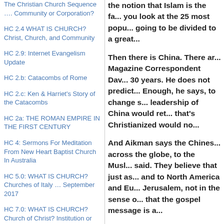The Christian Church Sequence …. Community or Corporation?
HC 2.4 WHAT IS CHURCH? Christ, Church, and Community
HC 2.9: Internet Evangelism Update
HC 2.b: Catacombs of Rome
HC 2.c: Ken & Harriet's Story of the Catacombs
HC 2a: THE ROMAN EMPIRE IN THE FIRST CENTURY
HC 4: Sermons For Meditation From New Heart Baptist Church In Australia
HC 5.0: WHAT IS CHURCH? Churches of Italy … September 2017
HC 7.0: WHAT IS CHURCH? Church of Christ? Institution or Community?
the notion that Islam is the fa... you look at the 25 most popu... going to be divided to a great...
Then there is China. There ar... Magazine Correspondent Dav... 30 years. He does not predict... Enough, he says, to change s... leadership of China would ret... that's Christianized would no...
And Aikman says the Chines... across the globe, to the Musl... said. They believe that just as... and to North America and Eu... Jerusalem, not in the sense o... that the gospel message is a...
Imagine Chinese reaching the... back to a largely godless Eur... church in England. God is se...